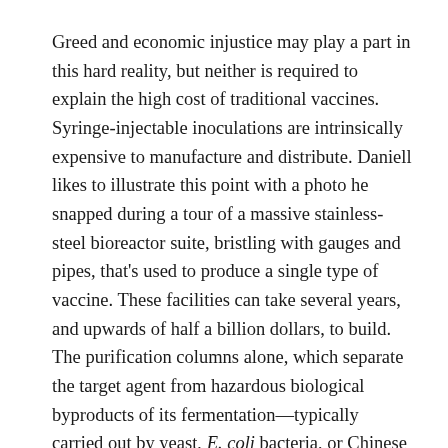Greed and economic injustice may play a part in this hard reality, but neither is required to explain the high cost of traditional vaccines. Syringe-injectable inoculations are intrinsically expensive to manufacture and distribute. Daniell likes to illustrate this point with a photo he snapped during a tour of a massive stainless-steel bioreactor suite, bristling with gauges and pipes, that's used to produce a single type of vaccine. These facilities can take several years, and upwards of half a billion dollars, to build. The purification columns alone, which separate the target agent from hazardous biological byproducts of its fermentation—typically carried out by yeast, E. coli bacteria, or Chinese hamster ovarian cells—run about $10 million apiece, and must be discarded and replaced after every single batch.